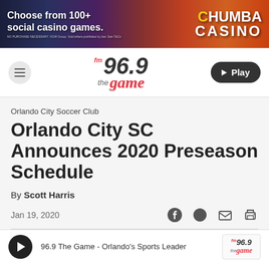[Figure (other): Chumba Casino advertisement banner: 'Choose from 100+ social casino games.' with colorful game imagery and Chumba Casino logo]
[Figure (logo): FM 96.9 The Game radio station logo in the navigation bar]
Orlando City Soccer Club
Orlando City SC Announces 2020 Preseason Schedule
By Scott Harris
Jan 19, 2020
96.9 The Game - Orlando's Sports Leader